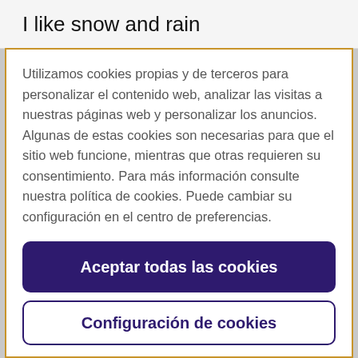I like snow and rain
Utilizamos cookies propias y de terceros para personalizar el contenido web, analizar las visitas a nuestras páginas web y personalizar los anuncios. Algunas de estas cookies son necesarias para que el sitio web funcione, mientras que otras requieren su consentimiento. Para más información consulte nuestra política de cookies. Puede cambiar su configuración en el centro de preferencias.
Aceptar todas las cookies
Configuración de cookies